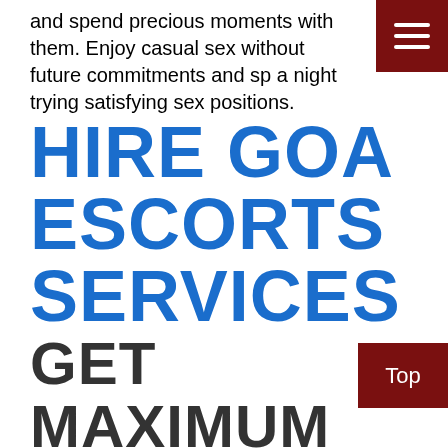and spend precious moments with them. Enjoy casual sex without future commitments and sp a night trying satisfying sex positions.
HIRE GOA ESCORTS SERVICES GET MAXIMUM PLEASURE
You don't need to worry about getting a perfect match after finding a trustworthy agency in Goa. Once a client finds a genuine agency, it becomes easy for him to pick a beautiful call girl wh p the best experience of getting Goa Escorts services. Who doesn't like a package full of